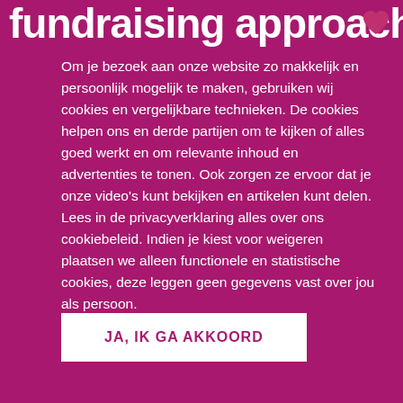fundraising approach ♥
Om je bezoek aan onze website zo makkelijk en persoonlijk mogelijk te maken, gebruiken wij cookies en vergelijkbare technieken. De cookies helpen ons en derde partijen om te kijken of alles goed werkt en om relevante inhoud en advertenties te tonen. Ook zorgen ze ervoor dat je onze video's kunt bekijken en artikelen kunt delen. Lees in de privacyverklaring alles over ons cookiebeleid. Indien je kiest voor weigeren plaatsen we alleen functionele en statistische cookies, deze leggen geen gegevens vast over jou als persoon.
Privacyverklaring Weiger
JA, IK GA AKKOORD